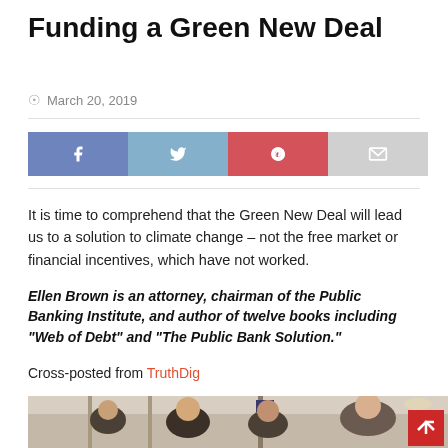Funding a Green New Deal
March 20, 2019
[Figure (other): Social share buttons: Facebook, Twitter, Pinterest, Email]
It is time to comprehend that the Green New Deal will lead us to a solution to climate change – not the free market or financial incentives, which have not worked.
Ellen Brown is an attorney, chairman of the Public Banking Institute, and author of twelve books including "Web of Debt" and "The Public Bank Solution."
Cross-posted from TruthDig
[Figure (photo): Photo of young activists and a woman speaking at what appears to be a press conference or political event in an indoor hallway setting.]